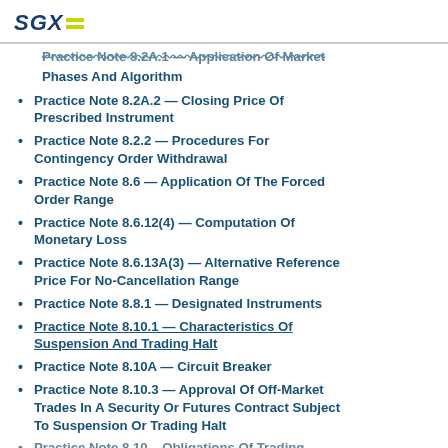SGX
Practice Note 8.2A.1 — Application Of Market Phases And Algorithm
Practice Note 8.2A.2 — Closing Price Of Prescribed Instrument
Practice Note 8.2.2 — Procedures For Contingency Order Withdrawal
Practice Note 8.6 — Application Of The Forced Order Range
Practice Note 8.6.12(4) — Computation Of Monetary Loss
Practice Note 8.6.13A(3) — Alternative Reference Price For No-Cancellation Range
Practice Note 8.8.1 — Designated Instruments
Practice Note 8.10.1 — Characteristics Of Suspension And Trading Halt
Practice Note 8.10A — Circuit Breaker
Practice Note 8.10.3 — Approval Of Off-Market Trades In A Security Or Futures Contract Subject To Suspension Or Trading Halt
Practice Note 8.10... Obligations Of Trading...